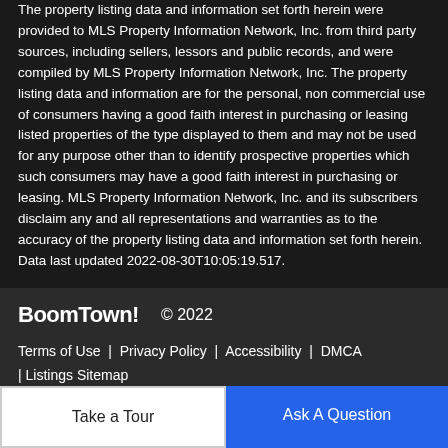The property listing data and information set forth herein were provided to MLS Property Information Network, Inc. from third party sources, including sellers, lessors and public records, and were compiled by MLS Property Information Network, Inc. The property listing data and information are for the personal, non commercial use of consumers having a good faith interest in purchasing or leasing listed properties of the type displayed to them and may not be used for any purpose other than to identify prospective properties which such consumers may have a good faith interest in purchasing or leasing. MLS Property Information Network, Inc. and its subscribers disclaim any and all representations and warranties as to the accuracy of the property listing data and information set forth herein. Data last updated 2022-08-30T10:05:19.517.
BoomTown! © 2022
Terms of Use | Privacy Policy | Accessibility | DMCA | Listings Sitemap
Take a Tour
Ask A Question